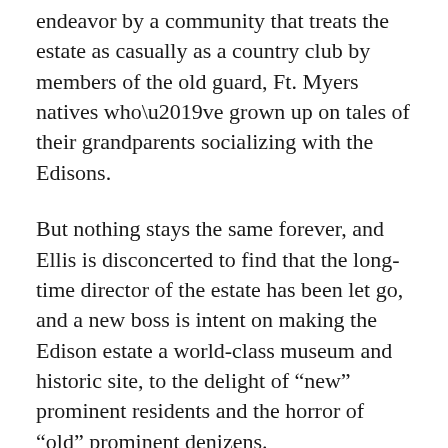endeavor by a community that treats the estate as casually as a country club by members of the old guard, Ft. Myers natives who've grown up on tales of their grandparents socializing with the Edisons.
But nothing stays the same forever, and Ellis is disconcerted to find that the long-time director of the estate has been let go, and a new boss is intent on making the Edison estate a world-class museum and historic site, to the delight of “new” prominent residents and the horror of “old” prominent denizens.
While poor Ellis is trying to acclimate to his newly upset world, Geena Pangborn, a woman grieving the loss of her teenaged son, is trying to escape hers. Finally driven away from her wealthy husband by her vindictive, controlling mother-in-law, Geena is on the run. Rather than allow the family to track her down with